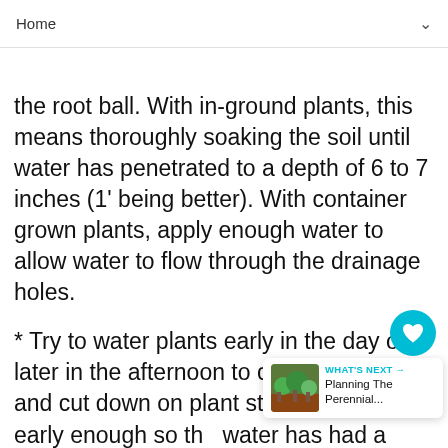Home
the root ball. With in-ground plants, this means thoroughly soaking the soil until water has penetrated to a depth of 6 to 7 inches (1' being better). With container grown plants, apply enough water to allow water to flow through the drainage holes.
* Try to water plants early in the day or later in the afternoon to conserve water and cut down on plant stress. Do water early enough so the water has had a chance to dry from plant leaves prior to night fall. This is paramount you have had fungus problems.
* Don't wait to water until plants wilt. Although some plants will recover from this, all plants